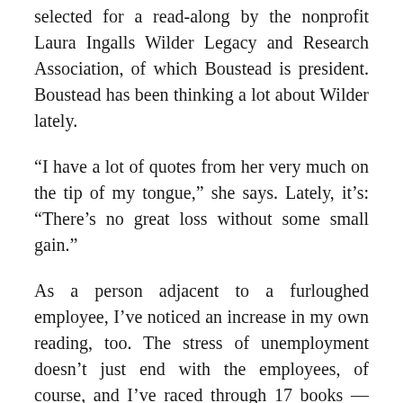selected for a read-along by the nonprofit Laura Ingalls Wilder Legacy and Research Association, of which Boustead is president. Boustead has been thinking a lot about Wilder lately.
“I have a lot of quotes from her very much on the tip of my tongue,” she says. Lately, it’s: “There’s no great loss without some small gain.”
As a person adjacent to a furloughed employee, I’ve noticed an increase in my own reading, too. The stress of unemployment doesn’t just end with the employees, of course, and I’ve raced through 17 books — and over 4,000 pages — since the furlough email arrived.